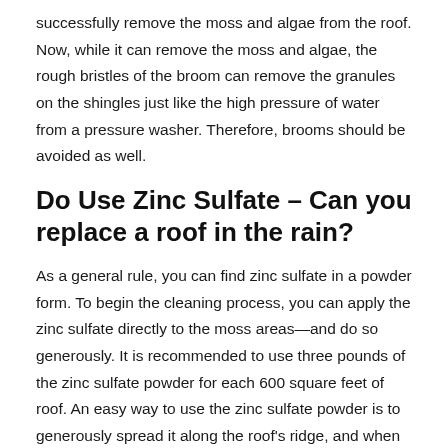successfully remove the moss and algae from the roof. Now, while it can remove the moss and algae, the rough bristles of the broom can remove the granules on the shingles just like the high pressure of water from a pressure washer. Therefore, brooms should be avoided as well.
Do Use Zinc Sulfate – Can you replace a roof in the rain?
As a general rule, you can find zinc sulfate in a powder form. To begin the cleaning process, you can apply the zinc sulfate directly to the moss areas—and do so generously. It is recommended to use three pounds of the zinc sulfate powder for each 600 square feet of roof. An easy way to use the zinc sulfate powder is to generously spread it along the roof's ridge, and when the next